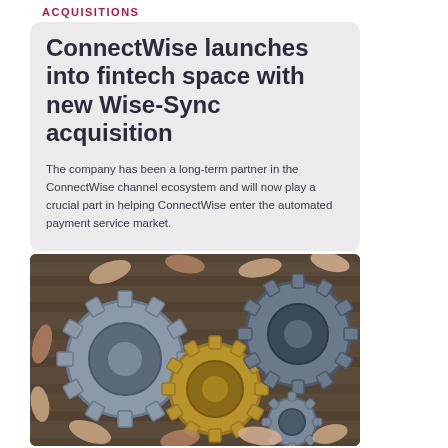ACQUISITIONS
ConnectWise launches into fintech space with new Wise-Sync acquisition
The company has been a long-term partner in the ConnectWise channel ecosystem and will now play a crucial part in helping ConnectWise enter the automated payment service market.
[Figure (photo): Multiple hands holding and assembling interlocking gears (silver, gold, dark) on a wooden surface, symbolizing partnership and collaboration.]